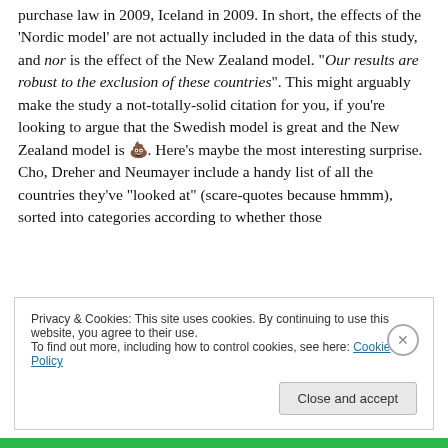purchase law in 2009, Iceland in 2009. In short, the effects of the 'Nordic model' are not actually included in the data of this study, and nor is the effect of the New Zealand model. "Our results are robust to the exclusion of these countries". This might arguably make the study a not-totally-solid citation for you, if you're looking to argue that the Swedish model is great and the New Zealand model is 💩. Here's maybe the most interesting surprise. Cho, Dreher and Neumayer include a handy list of all the countries they've "looked at" (scare-quotes because hmmm), sorted into categories according to whether those
Privacy & Cookies: This site uses cookies. By continuing to use this website, you agree to their use.
To find out more, including how to control cookies, see here: Cookie Policy